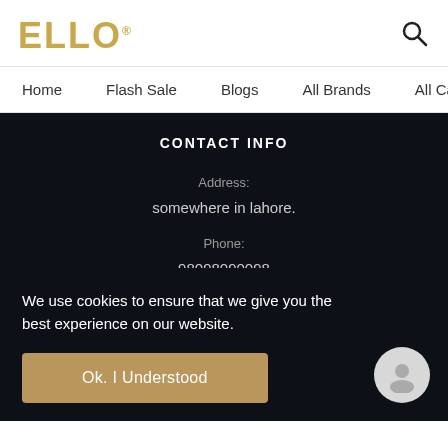ELLO® [logo] | [search icon]
Home   Flash Sale   Blogs   All Brands   All Cat
CONTACT INFO
Address:
somewhere in lahore.
Phone:
98098090098
Email:
info@ello.pk
We use cookies to ensure that we give you the best experience on our website.
Ok. I Understood